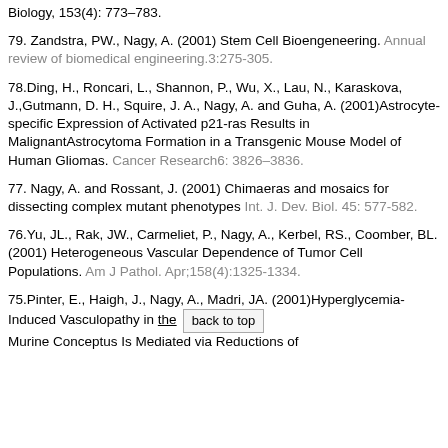Biology, 153(4): 773–783.
79. Zandstra, PW., Nagy, A. (2001) Stem Cell Bioengeneering. Annual review of biomedical engineering.3:275-305.
78.Ding, H., Roncari, L., Shannon, P., Wu, X., Lau, N., Karaskova, J.,Gutmann, D. H., Squire, J. A., Nagy, A. and Guha, A. (2001)Astrocyte-specific Expression of Activated p21-ras Results in MalignantAstrocytoma Formation in a Transgenic Mouse Model of Human Gliomas. Cancer Research6: 3826–3836.
77. Nagy, A. and Rossant, J. (2001) Chimaeras and mosaics for dissecting complex mutant phenotypes Int. J. Dev. Biol. 45: 577-582.
76.Yu, JL., Rak, JW., Carmeliet, P., Nagy, A., Kerbel, RS., Coomber, BL.(2001) Heterogeneous Vascular Dependence of Tumor Cell Populations. Am J Pathol. Apr;158(4):1325-1334.
75.Pinter, E., Haigh, J., Nagy, A., Madri, JA. (2001)Hyperglycemia-Induced Vasculopathy in the Murine Conceptus Is Mediated via Reductions of...